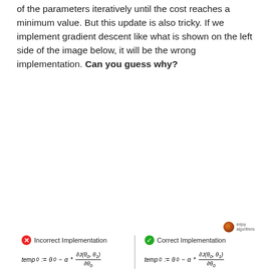of the parameters iteratively until the cost reaches a minimum value. But this update is also tricky. If we implement gradient descent like what is shown on the left side of the image below, it will be the wrong implementation. Can you guess why?
[Figure (illustration): Two-column diagram comparing Incorrect Implementation (left) and Correct Implementation (right) of gradient descent parameter update. Incorrect side: temp0 := theta0 - alpha * dJ(theta0,theta1)/d_theta0, then theta0 = temp0 (underlined in red dashes), then temp1 := theta1 - alpha * dJ(theta0,theta1)/d_theta1 (with red dot on theta0 in numerator), then theta1 = temp1. Correct side: temp0 := theta0 - alpha * dJ(theta0,theta1)/d_theta0, then temp1 := theta1 - alpha * dJ(theta0,theta1)/d_theta1, then theta0 = temp0, theta1 = temp1.]